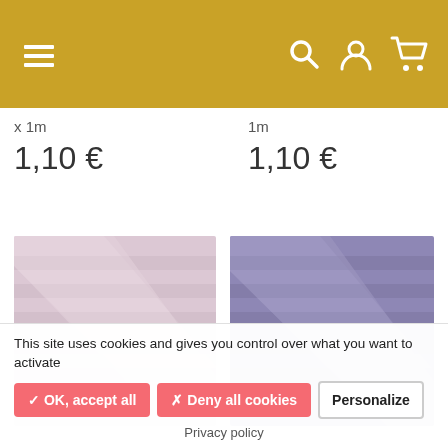Navigation header with menu, search, account and cart icons
x 1m
1,10 €
1m
1,10 €
[Figure (photo): Pink/light mauve bias binding tape folded in strips, showing diagonal and horizontal bands on a light pink fabric background]
[Figure (photo): Purple/lavender bias binding tape folded in strips, showing diagonal and horizontal bands on a purple fabric background]
This site uses cookies and gives you control over what you want to activate
✓ OK, accept all
✗ Deny all cookies
Personalize
Privacy policy